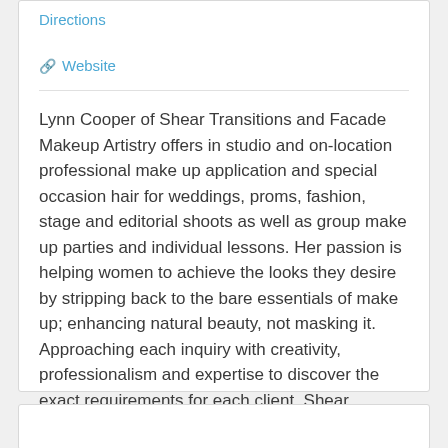Directions
Website
Lynn Cooper of Shear Transitions and Facade Makeup Artistry offers in studio and on-location professional make up application and special occasion hair for weddings, proms, fashion, stage and editorial shoots as well as group make up parties and individual lessons. Her passion is helping women to achieve the looks they desire by stripping back to the bare essentials of make up; enhancing natural beauty, not masking it. Approaching each inquiry with creativity, professionalism and expertise to discover the exact requirements for each client. Shear Transitions is also a eco-friendly 'green' salon.